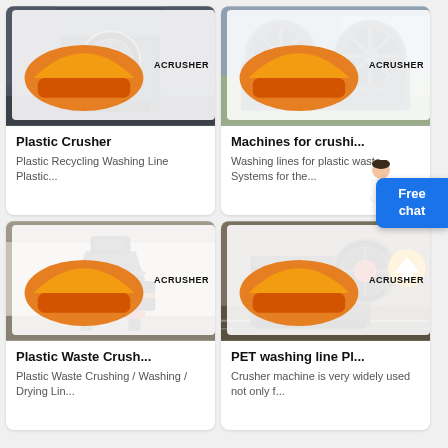[Figure (photo): Industrial plastic crusher machine (jaw crusher) in a factory, with ACRUSHER branding badge]
Plastic Crusher
Plastic Recycling Washing Line Plastic...
[Figure (photo): Large industrial sand washing machine with wheel mechanism, outdoors, with ACRUSHER branding badge]
Machines for crushi...
Washing lines for plastic waste Systems for the...
[Figure (photo): Vertical shaft impact crusher machine inside a large factory hall with ACRUSHER branding badge]
Plastic Waste Crush...
Plastic Waste Crushing / Washing / Drying Lin...
[Figure (photo): Jaw crusher machine in industrial setting with orange flywheel, ACRUSHER branding badge and upload icon overlay]
PET washing line Pl...
Crusher machine is very widely used not only f...